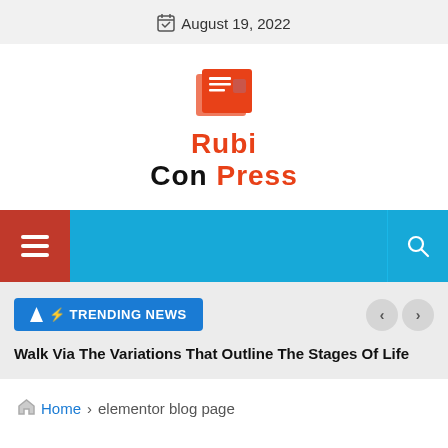August 19, 2022
[Figure (logo): Rubi Con Press newspaper logo — orange newspaper icon above text reading 'Rubi' in orange and 'Con Press' in black and orange]
[Figure (infographic): Blue navigation bar with red hamburger menu button on left and search icon on right]
⚡ TRENDING NEWS
Walk Via The Variations That Outline The Stages Of Life
Home > elementor blog page